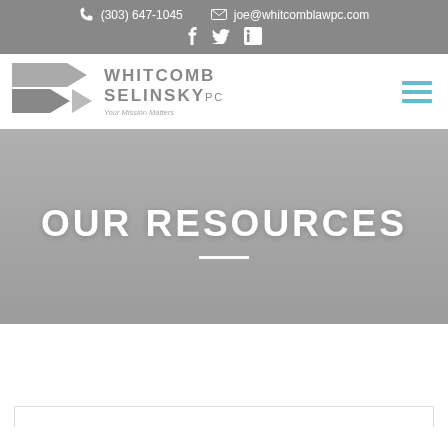(303) 647-1045  joe@whitcomblawpc.com
[Figure (logo): Whitcomb Selinsky PC law firm logo with triangular arrows graphic and tagline 'Your Mission Matters']
OUR RESOURCES